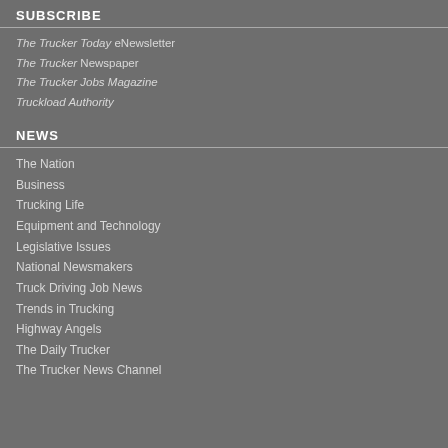SUBSCRIBE
The Trucker Today eNewsletter
The Trucker Newspaper
The Trucker Jobs Magazine
Truckload Authority
NEWS
The Nation
Business
Trucking Life
Equipment and Technology
Legislative Issues
National Newsmakers
Truck Driving Job News
Trends in Trucking
Highway Angels
The Daily Trucker
The Trucker News Channel